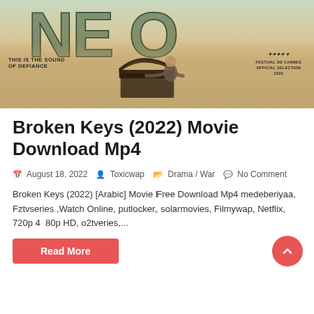[Figure (photo): Movie poster for Broken Keys (2022) showing large stylized letters at the top over a nature background, a man playing piano in the center, tagline 'THIS IS THE SOUND OF DEFIANCE', and a Cannes Film Festival official selection 2020 badge.]
Broken Keys (2022) Movie Download Mp4
August 18, 2022  Toxicwap  Drama / War  No Comment
Broken Keys (2022) [Arabic] Movie Free Download Mp4 medeberiyaa, Fztvseries ,Watch Online, putlocker, solarmovies, Filmywap, Netflix, 720p 480p HD, o2tveries,...
Read More